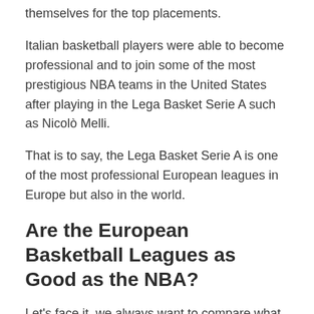themselves for the top placements.
Italian basketball players were able to become professional and to join some of the most prestigious NBA teams in the United States after playing in the Lega Basket Serie A such as Nicolò Melli.
That is to say, the Lega Basket Serie A is one of the most professional European leagues in Europe but also in the world.
Are the European Basketball Leagues as Good as the NBA?
Let's face it, we always want to compare what we have with the best. For this reason, you might